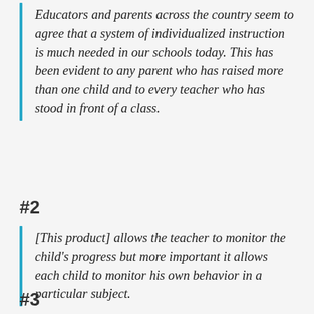Educators and parents across the country seem to agree that a system of individualized instruction is much needed in our schools today. This has been evident to any parent who has raised more than one child and to every teacher who has stood in front of a class.
#2
[This product] allows the teacher to monitor the child's progress but more important it allows each child to monitor his own behavior in a particular subject.
#3